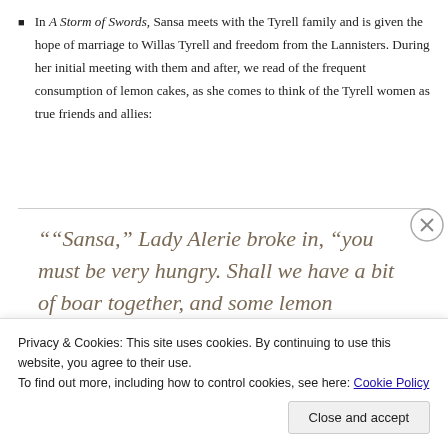In A Storm of Swords, Sansa meets with the Tyrell family and is given the hope of marriage to Willas Tyrell and freedom from the Lannisters. During her initial meeting with them and after, we read of the frequent consumption of lemon cakes, as she comes to think of the Tyrell women as true friends and allies:
““Sansa,” Lady Alerie broke in, “you must be very hungry. Shall we have a bit of boar together, and some lemon cakes?”
Privacy & Cookies: This site uses cookies. By continuing to use this website, you agree to their use.
To find out more, including how to control cookies, see here: Cookie Policy
Close and accept